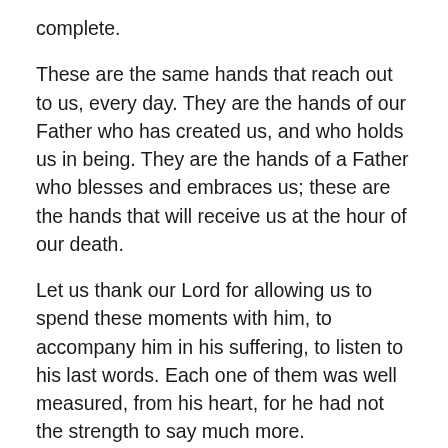complete.
These are the same hands that reach out to us, every day. They are the hands of our Father who has created us, and who holds us in being. They are the hands of a Father who blesses and embraces us; these are the hands that will receive us at the hour of our death.
Let us thank our Lord for allowing us to spend these moments with him, to accompany him in his suffering, to listen to his last words. Each one of them was well measured, from his heart, for he had not the strength to say much more.
As we continue to contemplate the Passion of Christ this Good Friday and await the Resurrection, let us repeat with St. Paul, “I live by faith in the Son of God who loved me